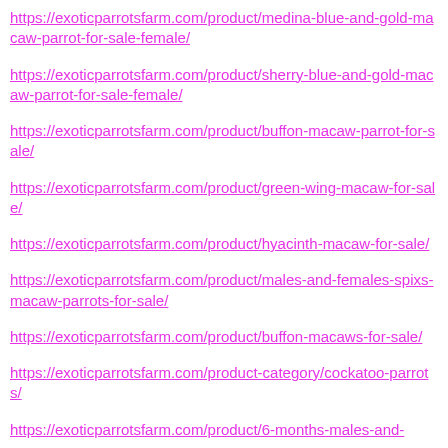https://exoticparrotsfarm.com/product/medina-blue-and-gold-macaw-parrot-for-sale-female/
https://exoticparrotsfarm.com/product/sherry-blue-and-gold-macaw-parrot-for-sale-female/
https://exoticparrotsfarm.com/product/buffon-macaw-parrot-for-sale/
https://exoticparrotsfarm.com/product/green-wing-macaw-for-sale/
https://exoticparrotsfarm.com/product/hyacinth-macaw-for-sale/
https://exoticparrotsfarm.com/product/males-and-females-spixs-macaw-parrots-for-sale/
https://exoticparrotsfarm.com/product/buffon-macaws-for-sale/
https://exoticparrotsfarm.com/product-category/cockatoo-parrots/
https://exoticparrotsfarm.com/product/6-months-males-and-...